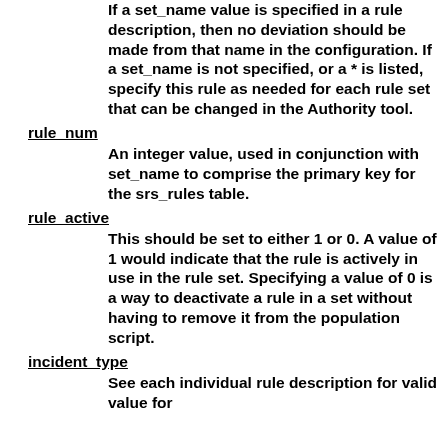If a set_name value is specified in a rule description, then no deviation should be made from that name in the configuration. If a set_name is not specified, or a * is listed, specify this rule as needed for each rule set that can be changed in the Authority tool.
rule_num
An integer value, used in conjunction with set_name to comprise the primary key for the srs_rules table.
rule_active
This should be set to either 1 or 0. A value of 1 would indicate that the rule is actively in use in the rule set. Specifying a value of 0 is a way to deactivate a rule in a set without having to remove it from the population script.
incident_type
See each individual rule description for valid value for